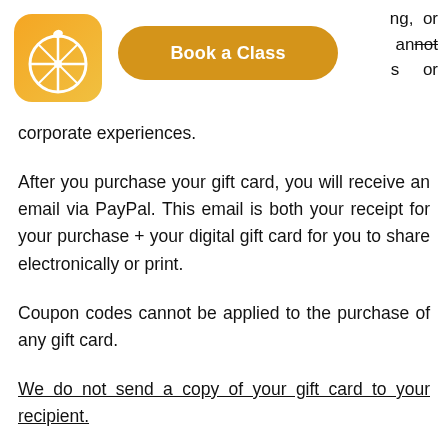[Figure (logo): Orange/yellow rounded square app icon with a white citrus orange slice graphic]
[Figure (other): Gold pill-shaped button with white bold text 'Book a Class']
ng, or cannot s or
corporate experiences.
After you purchase your gift card, you will receive an email via PayPal. This email is both your receipt for your purchase + your digital gift card for you to share electronically or print.
Coupon codes cannot be applied to the purchase of any gift card.
We do not send a copy of your gift card to your recipient.